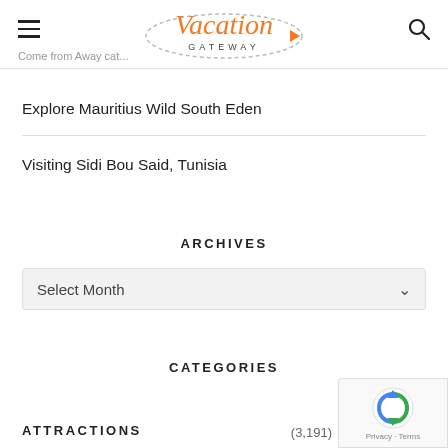Vacation Gateway
Come from Away cat...
Explore Mauritius Wild South Eden
Visiting Sidi Bou Said, Tunisia
ARCHIVES
Select Month
CATEGORIES
ATTRACTIONS
(3,191)